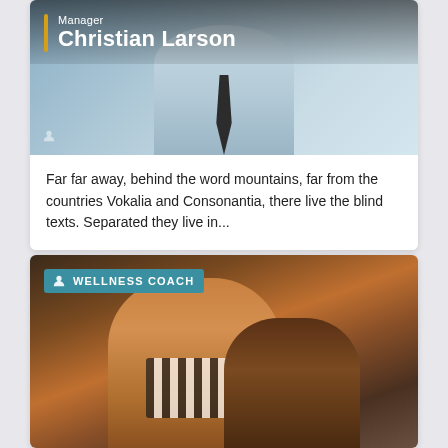[Figure (photo): Photo of a manager in a light blue shirt with a dark tie, hand raised, holding papers. Overlaid with name and role text.]
Manager
Christian Larson
Far far away, behind the word mountains, far from the countries Vokalia and Consonantia, there live the blind texts. Separated they live in...
[Figure (photo): Photo of a wellness coach (woman) with a child, both looking downward, possibly at a book or paper. A teal badge reads WELLNESS COACH in the top left corner.]
WELLNESS COACH